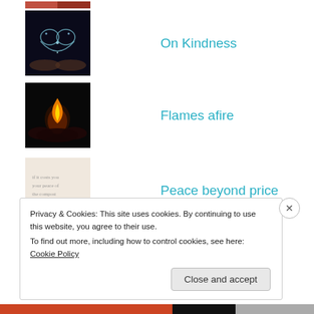[Figure (photo): Partial thumbnail of an image at the top, cropped]
[Figure (photo): Thumbnail: heart shape made of sparkles/light held in hands, dark background]
On Kindness
[Figure (photo): Thumbnail: candle flame in dark background, hands holding]
Flames afire
[Figure (photo): Thumbnail: light pink/beige background with small handwritten text about peace]
Peace beyond price
[Figure (photo): Thumbnail: black background with white bold text 'DARE TO DREAM']
On dreams
Privacy & Cookies: This site uses cookies. By continuing to use this website, you agree to their use.
To find out more, including how to control cookies, see here: Cookie Policy
Close and accept